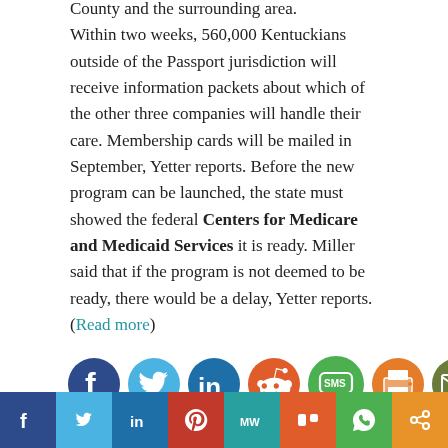managed care over 21,000 Kentuckians in Jefferson County and the surrounding area. Within two weeks, 560,000 Kentuckians outside of the Passport jurisdiction will receive information packets about which of the other three companies will handle their care. Membership cards will be mailed in September, Yetter reports. Before the new program can be launched, the state must showed the federal Centers for Medicare and Medicaid Services it is ready. Miller said that if the program is not deemed to be ready, there would be a delay, Yetter reports. (Read more)
[Figure (other): Row of social media sharing icons: Facebook (dark blue), Twitter (light blue), LinkedIn (blue), Reddit (orange), SMS (green), Print (orange), Email (olive/dark green), Share (orange)]
TAGS: managed care   Medicaid
[Figure (other): Bottom navigation bar with colored sections for social media: Facebook (dark blue), Twitter (light blue), LinkedIn (blue), Pinterest (red), MedWatch (teal), Mix (orange-red), WhatsApp (green), Share (orange)]